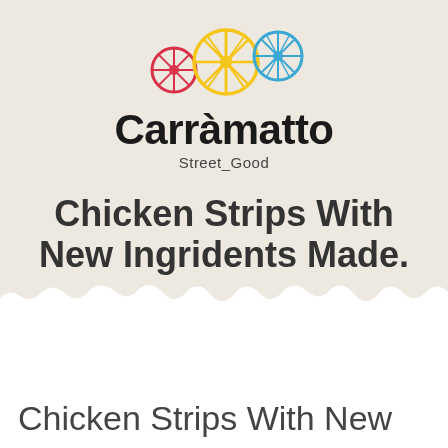[Figure (logo): Carramatto Street_Good logo with three citrus wheel icons in red, yellow, and blue, brand name 'Carramatto' in bold black, and tagline 'Street_Good' below]
Chicken Strips With New Ingridents Made.
Chicken Strips With New